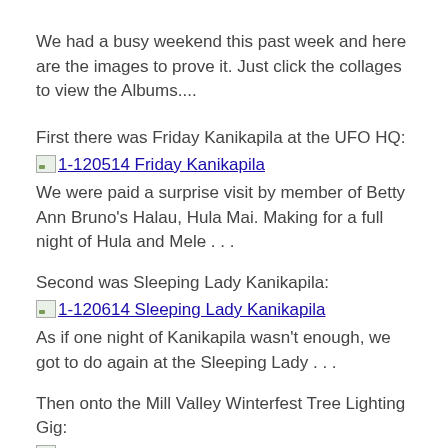We had a busy weekend this past week and here are the images to prove it. Just click the collages to view the Albums....
First there was Friday Kanikapila at the UFO HQ:
[image] 1-120514 Friday Kanikapila
We were paid a surprise visit by member of Betty Ann Bruno's Halau, Hula Mai. Making for a full night of Hula and Mele . . .
Second was Sleeping Lady Kanikapila:
[image] 1-120614 Sleeping Lady Kanikapila
As if one night of Kanikapila wasn't enough, we got to do again at the Sleeping Lady . . .
Then onto the Mill Valley Winterfest Tree Lighting Gig:
[image] 1-2014-12-07